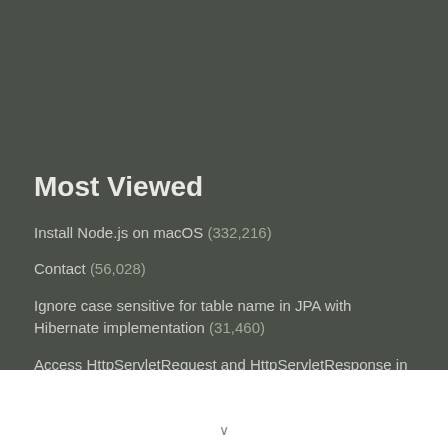Most Viewed
Install Node.js on macOS (332,216)
Contact (56,028)
Ignore case sensitive for table name in JPA with Hibernate implementation (31,460)
Access HttpServletRequest and HttpServletResponse in Spring MVC controller (26,874)